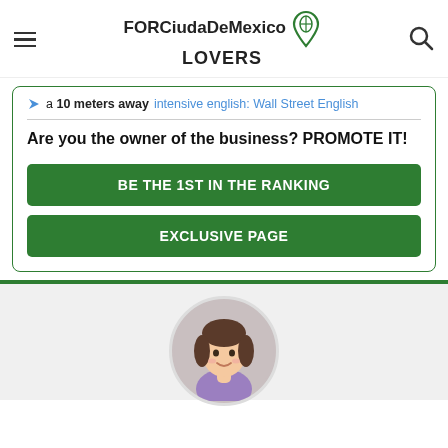FORCiudaDeMexico LOVERS
a 10 meters away intensive english: Wall Street English
Are you the owner of the business? PROMOTE IT!
BE THE 1ST IN THE RANKING
EXCLUSIVE PAGE
[Figure (illustration): Cartoon avatar of a woman with brown hair and a purple top, shown in a circular frame against a light gray background.]